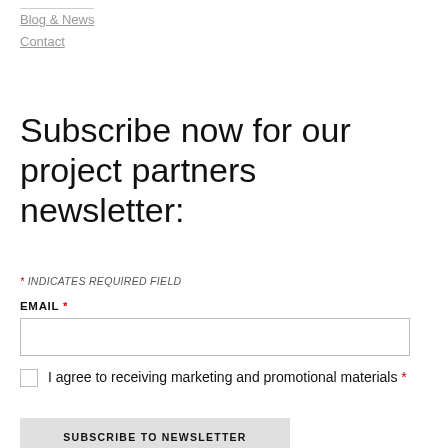Blog & News
Contact
Subscribe now for our project partners newsletter:
* INDICATES REQUIRED FIELD
EMAIL *
I agree to receiving marketing and promotional materials *
SUBSCRIBE TO NEWSLETTER